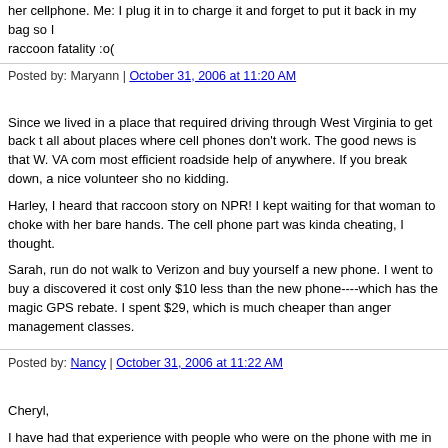her cellphone. Me: I plug it in to charge it and forget to put it back in my bag so I raccoon fatality :o(
Posted by: Maryann | October 31, 2006 at 11:20 AM
Since we lived in a place that required driving through West Virginia to get back t all about places where cell phones don't work. The good news is that W. VA com most efficient roadside help of anywhere. If you break down, a nice volunteer sho no kidding.
Harley, I heard that raccoon story on NPR! I kept waiting for that woman to choke with her bare hands. The cell phone part was kinda cheating, I thought.
Sarah, run do not walk to Verizon and buy yourself a new phone. I went to buy a discovered it cost only $10 less than the new phone----which has the magic GPS rebate. I spent $29, which is much cheaper than anger management classes.
Posted by: Nancy | October 31, 2006 at 11:22 AM
Cheryl,
I have had that experience with people who were on the phone with me in Washi that experience at my in-laws' former house, which backs up to a military base. N
Sarah, how could you hear the speakers, what with....No, I won't say that.
Posted by: Josh | October 31, 2006 at 11:34 AM